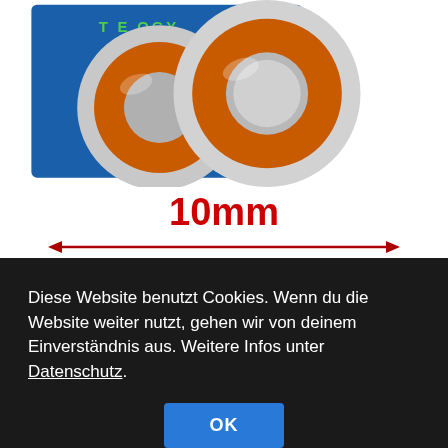[Figure (photo): Product photo showing two ball bearings (with orange/red seals) in front of a blue product box labeled 'TECHNOLOGY' and 'www...gs.com'. Below the photo is a red dimension label '10mm' with a red horizontal double-headed arrow indicating the measurement span.]
Diese Website benutzt Cookies. Wenn du die Website weiter nutzt, gehen wir von deinem Einverständnis aus. Weitere Infos unter Datenschutz.
OK